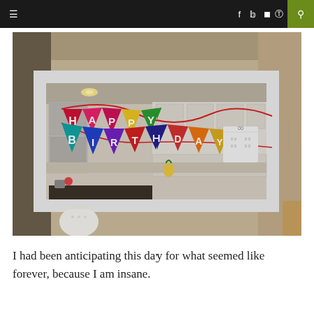≡  f  ✦  ☷  ⊕  🔍
[Figure (photo): Indoor photo of a kitchen pass-through window decorated with a colorful triangular pennant banner spelling out HAPPY BIRTHDAY in white letters on multicolored flags (red, pink, teal, blue, purple, red, orange, green, yellow, orange), hanging against a kitchen background with white cabinets and appliances.]
I had been anticipating this day for what seemed like forever, because I am insane.